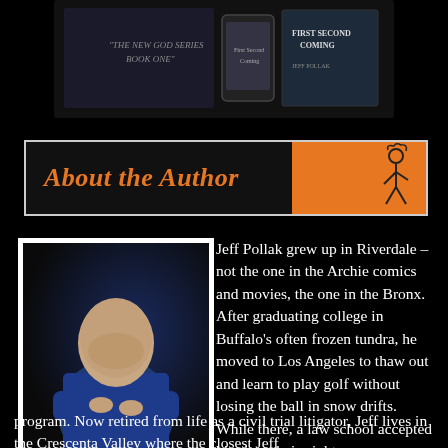[Figure (photo): Book cover banner showing 'The New God Series Book One' and 'First Second Coming' books against dark background]
[Figure (illustration): About the Author banner with black section containing orange italic text 'About the Author' and orange section with a line-art figure illustration]
[Figure (photo): Author photo of Jeff Pollak, an older man in a blue plaid shirt, posed with arms crossed, against a dark blue background, framed with white border]
Jeff Pollak grew up in Riverdale – not the one in the Archie comics and movies, the one in the Bronx. After graduating college in Buffalo's often frozen tundra, he moved to Los Angeles to thaw out and learn to play golf without losing the ball in snow drifts. While there, a law school accepted him into their night program. Now retired from life as a civil trial litigator, Jeff lives in the Crescenta Valley where the closest Jeff